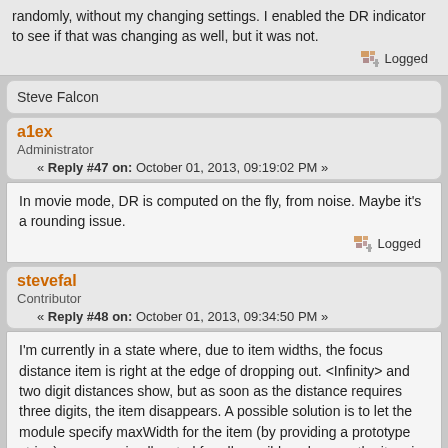randomly, without my changing settings. I enabled the DR indicator to see if that was changing as well, but it was not.
Logged
Steve Falcon
a1ex
Administrator
« Reply #47 on: October 01, 2013, 09:19:02 PM »
In movie mode, DR is computed on the fly, from noise. Maybe it's a rounding issue.
Logged
stevefal
Contributor
« Reply #48 on: October 01, 2013, 09:34:50 PM »
I'm currently in a state where, due to item widths, the focus distance item is right at the edge of dropping out. <Infinity> and two digit distances show, but as soon as the distance requires three digits, the item disappears. A possible solution is to let the module specify maxWidth for the item (by providing a prototype string), so space is allocated for all possible values, or the item is pre-emptively dropped